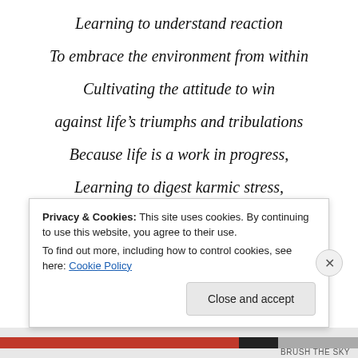Learning to understand reaction
To embrace the environment from within
Cultivating the attitude to win
against life's triumphs and tribulations
Because life is a work in progress,
Learning to digest karmic stress,
...and by your resolution
Privacy & Cookies: This site uses cookies. By continuing to use this website, you agree to their use. To find out more, including how to control cookies, see here: Cookie Policy
Close and accept